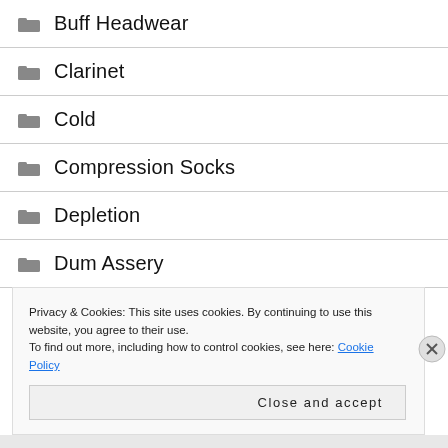Buff Headwear
Clarinet
Cold
Compression Socks
Depletion
Dum Assery
Privacy & Cookies: This site uses cookies. By continuing to use this website, you agree to their use.
To find out more, including how to control cookies, see here: Cookie Policy
Close and accept